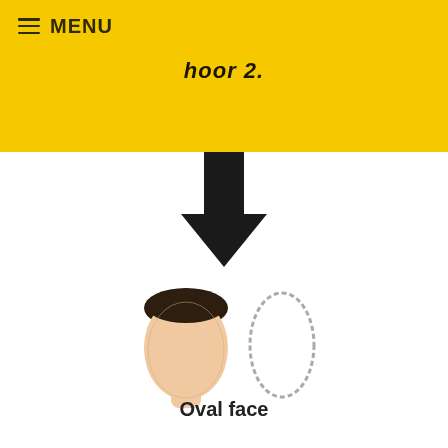≡ MENU
hoor 2.
[Figure (illustration): Large black downward arrow indicating direction/flow]
[Figure (illustration): Front view illustration of a human head/face next to an oval shape outline, representing oval face shape]
Oval face